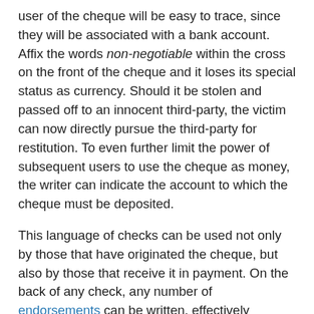user of the cheque will be easy to trace, since they will be associated with a bank account. Affix the words non-negotiable within the cross on the front of the cheque and it loses its special status as currency. Should it be stolen and passed off to an innocent third-party, the victim can now directly pursue the third-party for restitution. To even further limit the power of subsequent users to use the cheque as money, the writer can indicate the account to which the cheque must be deposited.
This language of checks can be used not only by those that have originated the cheque, but also by those that receive it in payment. On the back of any check, any number of endorsements can be written, effectively allowing for the conversion of someone else's payment instructions into your own unique medium of exchange.
In summary, while the popularity of the cheque has certainly been declining over the last few decade, it is still hanging in there—and that's because it seem to be providing some unique services that haven't yet been replicated by cheaper, digital alternatives. While those in the fintech space often